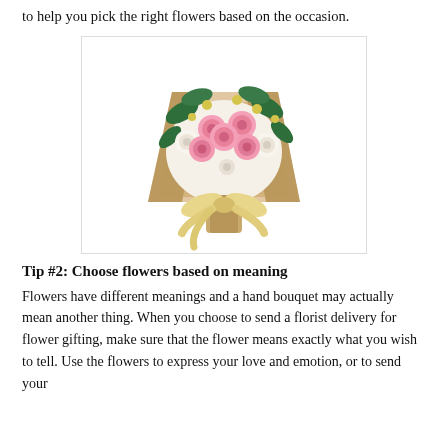to help you pick the right flowers based on the occasion.
[Figure (photo): A hand bouquet of pink and white roses wrapped in kraft paper with a golden ribbon bow.]
Tip #2: Choose flowers based on meaning
Flowers have different meanings and a hand bouquet may actually mean another thing. When you choose to send a florist delivery for flower gifting, make sure that the flower means exactly what you wish to tell. Use the flowers to express your love and emotion, or to send your